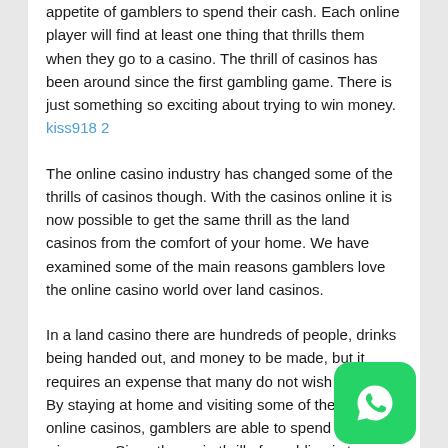appetite of gamblers to spend their cash. Each online player will find at least one thing that thrills them when they go to a casino. The thrill of casinos has been around since the first gambling game. There is just something so exciting about trying to win money. kiss918 2
The online casino industry has changed some of the thrills of casinos though. With the casinos online it is now possible to get the same thrill as the land casinos from the comfort of your home. We have examined some of the main reasons gamblers love the online casino world over land casinos.
In a land casino there are hundreds of people, drinks being handed out, and money to be made, but it requires an expense that many do not wish to have. By staying at home and visiting some of the best online casinos, gamblers are able to spend less and win more. Since the main thrill of gambling is to see that bankroll increase on a poker game, online casino slots, or at other games, going to a land casino is just not as lucrative.
[Figure (other): WhatsApp contact button (green rounded square with white WhatsApp phone icon)]